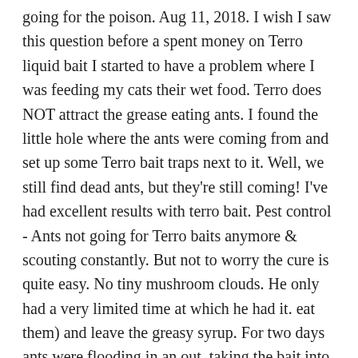going for the poison. Aug 11, 2018. I wish I saw this question before a spent money on Terro liquid bait I started to have a problem where I was feeding my cats their wet food. Terro does NOT attract the grease eating ants. I found the little hole where the ants were coming from and set up some Terro bait traps next to it. Well, we still find dead ants, but they're still coming! I've had excellent results with terro bait. Pest control - Ants not going for Terro baits anymore & scouting constantly. But not to worry the cure is quite easy. No tiny mushroom clouds. He only had a very limited time at which he had it. eat them) and leave the greasy syrup. For two days ants were flooding in an out, taking the bait into the hole and to the nest. Fire ants will eat them and the moisture inside their bodies will cause the grits to expand and the ants to explode. The bait may not kill the ants instantly, but will eliminate the entire nest within